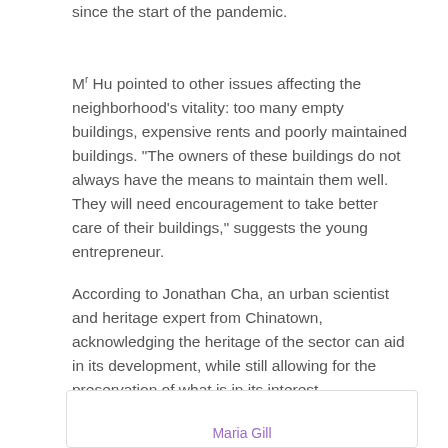since the start of the pandemic.
Mʳ Hu pointed to other issues affecting the neighborhood’s vitality: too many empty buildings, expensive rents and poorly maintained buildings. “The owners of these buildings do not always have the means to maintain them well. They will need encouragement to take better care of their buildings,” suggests the young entrepreneur.
According to Jonathan Cha, an urban scientist and heritage expert from Chinatown, acknowledging the heritage of the sector can aid in its development, while still allowing for the preservation of what is in its interest.
[Figure (other): White box area with a purple scroll-to-top button (chevron up arrow) in the top-right corner, and partially visible author name 'Maria Gill' at the bottom center.]